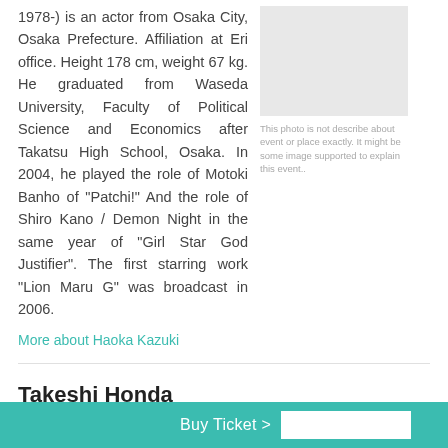1978-) is an actor from Osaka City, Osaka Prefecture. Affiliation at Eri office. Height 178 cm, weight 67 kg. He graduated from Waseda University, Faculty of Political Science and Economics after Takatsu High School, Osaka. In 2004, he played the role of Motoki Banho of "Patchi!" And the role of Shiro Kano / Demon Night in the same year of "Girl Star God Justifier". The first starring work "Lion Maru G" was broadcast in 2006.
[Figure (photo): Gray placeholder image box]
This photo is not describe about event or place exactly. It might be some image supported to explain this event..
More about Haoka Kazuki
Takeshi Honda
Buy Ticket >